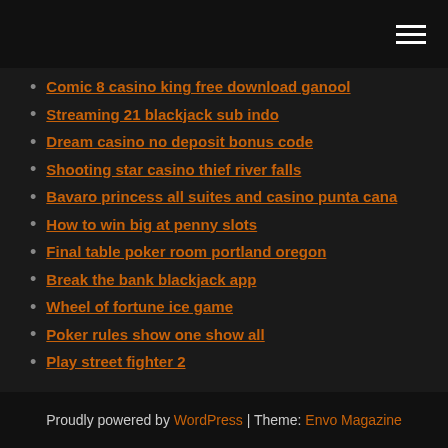[hamburger menu icon]
Comic 8 casino king free download ganool
Streaming 21 blackjack sub indo
Dream casino no deposit bonus code
Shooting star casino thief river falls
Bavaro princess all suites and casino punta cana
How to win big at penny slots
Final table poker room portland oregon
Break the bank blackjack app
Wheel of fortune ice game
Poker rules show one show all
Play street fighter 2
Proudly powered by WordPress | Theme: Envo Magazine